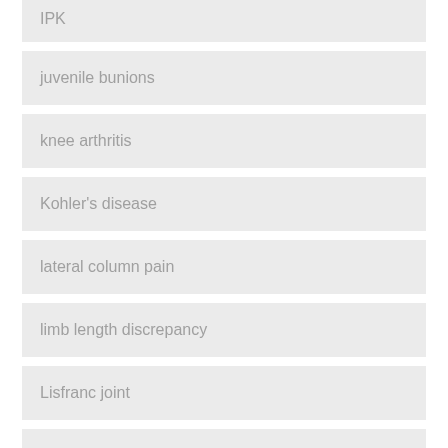IPK
juvenile bunions
knee arthritis
Kohler's disease
lateral column pain
limb length discrepancy
Lisfranc joint
melanoma